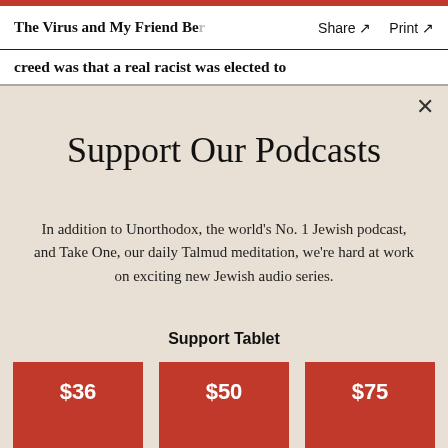The Virus and My Friend Be…  Share ↗  Print ↗
creed was that a real racist was elected to
Support Our Podcasts
In addition to Unorthodox, the world's No. 1 Jewish podcast, and Take One, our daily Talmud meditation, we're hard at work on exciting new Jewish audio series.
Support Tablet
$36  $50  $75